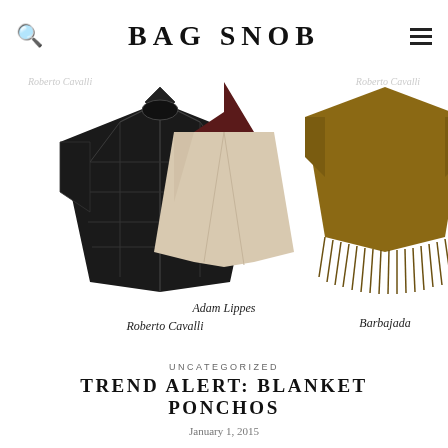BAG SNOB
[Figure (photo): Three fashion ponchos displayed: left is a black geometric Roberto Cavalli poncho, center is an Adam Lippes poncho in beige/burgundy, right is a brown fringed Barbajada poncho. Each labeled with brand name in italic serif.]
Roberto Cavalli
Adam Lippes
Barbajada
UNCATEGORIZED
TREND ALERT: BLANKET PONCHOS
January 1, 2015
The holidays may be coming to a close, but winter most certainly is not. Put your sparkly mini dress and heels in the closet